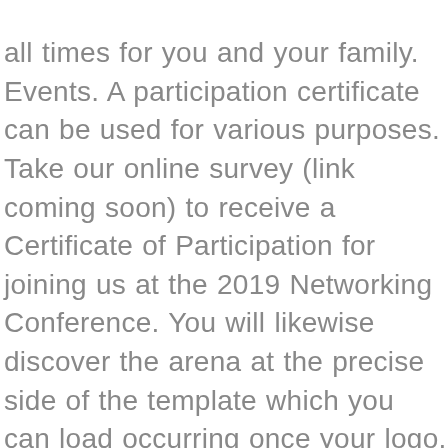all times for you and your family. Events. A participation certificate can be used for various purposes. Take our online survey (link coming soon) to receive a Certificate of Participation for joining us at the 2019 Networking Conference. You will likewise discover the arena at the precise side of the template which you can load occurring once your logo. It serves as proof that someone took part in a significant event. Spelling Bee Participation. They often think that they must design the certificate and spend a lot of grant to acquire it. A certificate of participation is an official document which is used and issued by the corporate or other institutions to their employees who have participated in an event, contest or any other meeting which is conducted by the business or other organizations. 26 junior achievement certificate template a riverheadfd from Conference Participation Certificate Template , source:riverheadfd.org By : Marissa Posted on February